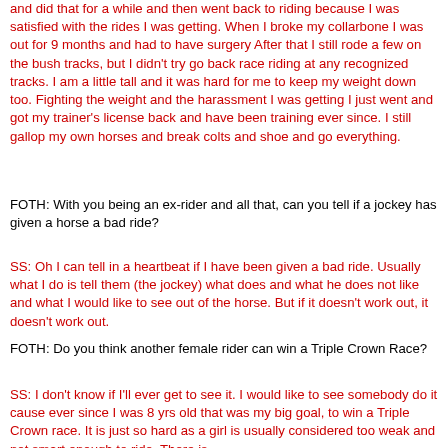and did that for a while and then went back to riding because I was satisfied with the rides I was getting. When I broke my collarbone I was out for 9 months and had to have surgery After that I still rode a few on the bush tracks, but I didn't try go back race riding at any recognized tracks. I am a little tall and it was hard for me to keep my weight down too. Fighting the weight and the harassment I was getting I just went and got my trainer's license back and have been training ever since. I still gallop my own horses and break colts and shoe and go everything.
FOTH: With you being an ex-rider and all that, can you tell if a jockey has given a horse a bad ride?
SS: Oh I can tell in a heartbeat if I have been given a bad ride. Usually what I do is tell them (the jockey) what does and what he does not like and what I would like to see out of the horse. But if it doesn't work out, it doesn't work out.
FOTH: Do you think another female rider can win a Triple Crown Race?
SS: I don't know if I'll ever get to see it. I would like to see somebody do it cause ever since I was 8 yrs old that was my big goal, to win a Triple Crown race. It is just so hard as a girl is usually considered too weak and not smart enough to ride. There is